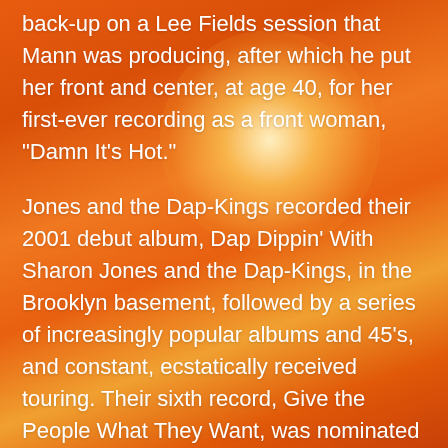back-up on a Lee Fields session that Mann was producing, after which he put her front and center, at age 40, for her first-ever recording as a front woman, "Damn It's Hot."
Jones and the Dap-Kings recorded their 2001 debut album, Dap Dippin' With Sharon Jones and the Dap-Kings, in the Brooklyn basement, followed by a series of increasingly popular albums and 45's, and constant, ecstatically received touring. Their sixth record, Give the People What They Want, was nominated for Best R&B Album at the 2015 Grammys, and the group's last